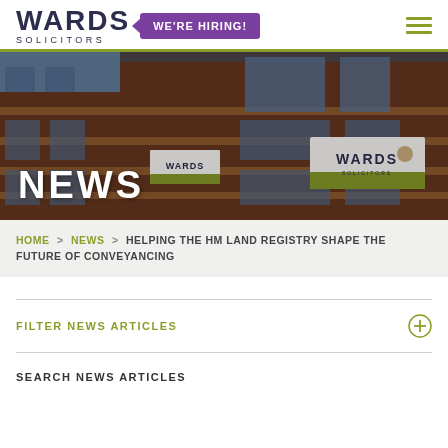WARDS SOLICITORS — WE'RE HIRING!
[Figure (photo): Exterior photo of Wards Solicitors brick office building with Wards Solicitors signage, overlaid with large white 'NEWS' text]
HOME > NEWS > HELPING THE HM LAND REGISTRY SHAPE THE FUTURE OF CONVEYANCING
FILTER NEWS ARTICLES
SEARCH NEWS ARTICLES